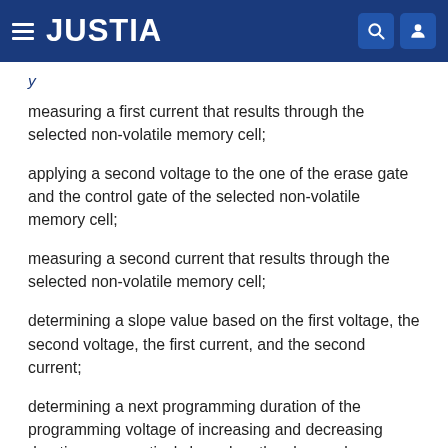JUSTIA
measuring a first current that results through the selected non-volatile memory cell;
applying a second voltage to the one of the erase gate and the control gate of the selected non-volatile memory cell;
measuring a second current that results through the selected non-volatile memory cell;
determining a slope value based on the first voltage, the second voltage, the first current, and the second current;
determining a next programming duration of the programming voltage of increasing and decreasing durations, respectively based on the slope value;